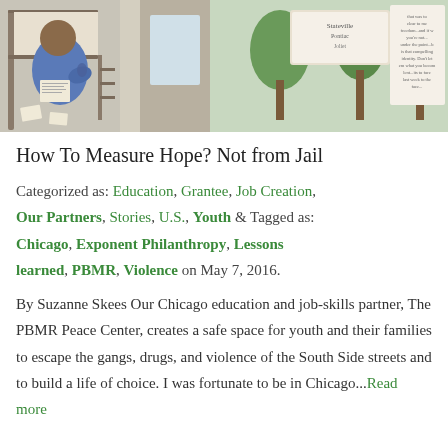[Figure (illustration): An illustration showing a person in blue clothing sitting on a bunk bed reading, with papers around them, in a jail/prison cell setting. Background shows trees and text references to places like Pontiac and Joliet.]
How To Measure Hope? Not from Jail
Categorized as: Education, Grantee, Job Creation, Our Partners, Stories, U.S., Youth & Tagged as: Chicago, Exponent Philanthropy, Lessons learned, PBMR, Violence on May 7, 2016.
By Suzanne Skees Our Chicago education and job-skills partner, The PBMR Peace Center, creates a safe space for youth and their families to escape the gangs, drugs, and violence of the South Side streets and to build a life of choice. I was fortunate to be in Chicago...Read more